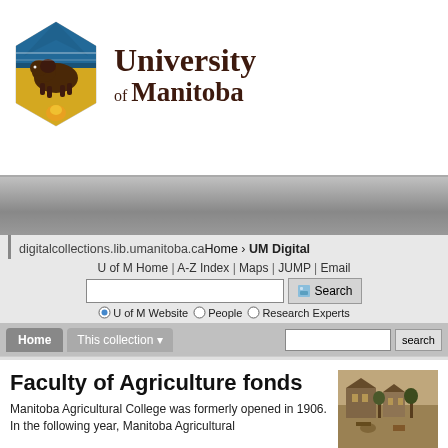[Figure (logo): University of Manitoba logo with bison and shield emblem in blue, gold, and brown colors]
University of Manitoba
digitalcollections.lib.umanitoba.ca Home › UM Digital
U of M Home | A-Z Index | Maps | JUMP | Email
U of M Website | People | Research Experts
Home   This collection ›   Advanced Search   Newspaper Search   Collections › Archives & Special Collections › Negative - powerhouse at the Manitoba Agricultural College Tuxedo campus (x) › Faculty of Agriculture fonds (x) › Winnipeg (x) ›
View   Details
Faculty of Agriculture fonds
Manitoba Agricultural College was formerly opened in 1906. In the following year, Manitoba Agricultural
[Figure (photo): Sepia-toned historical photograph of Manitoba Agricultural College campus buildings]